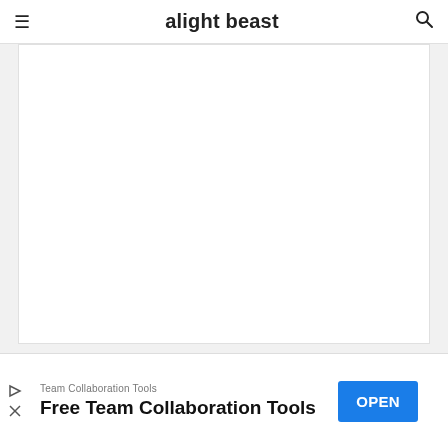≡  alight beast  🔍
[Figure (other): White rectangular content area placeholder (advertisement or embedded content area)]
Popular Posts
[Figure (screenshot): Thumbnail image for Instagram Trending logo editing tutorial - dark background with logo text and graphic elements]
Instagram Trending logo editing | Instagram Trending viral logo tutorial in pixellab
[Figure (other): CLOSE button overlay in red]
[Figure (other): Advertisement banner: Team Collaboration Tools - Free Team Collaboration Tools with OPEN button]